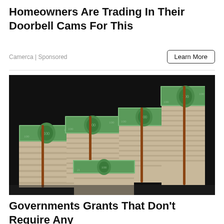Homeowners Are Trading In Their Doorbell Cams For This
Camerca | Sponsored
[Figure (photo): Multiple stacks of US $100 bills bundled with rubber bands, piled in what appears to be a dark bag or briefcase, photographed from above at an angle.]
Governments Grants That Don't Require Any